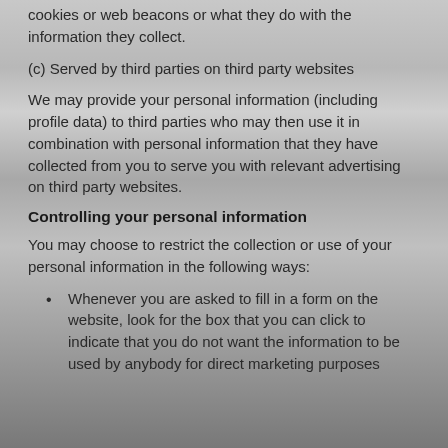cookies or web beacons or what they do with the information they collect.
(c) Served by third parties on third party websites
We may provide your personal information (including profile data) to third parties who may then use it in combination with personal information that they have collected from you to serve you with relevant advertising on third party websites.
Controlling your personal information
You may choose to restrict the collection or use of your personal information in the following ways:
Whenever you are asked to fill in a form on the website, look for the box that you can click to indicate that you do not want the information to be used by anybody for direct marketing purposes